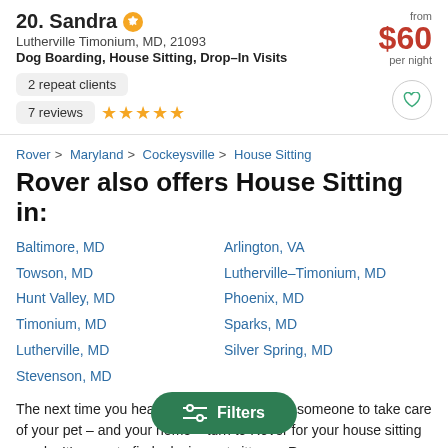20. Sandra
Lutherville Timonium, MD, 21093
Dog Boarding, House Sitting, Drop-In Visits
from $60 per night
2 repeat clients
7 reviews ★★★★★
Rover > Maryland > Cockeysville > House Sitting
Rover also offers House Sitting in:
Baltimore, MD
Towson, MD
Hunt Valley, MD
Timonium, MD
Lutherville, MD
Stevenson, MD
Arlington, VA
Lutherville-Timonium, MD
Phoenix, MD
Sparks, MD
Silver Spring, MD
The next time you head out of town and need someone to take care of your pet – and your home – turn to Rover for your house sitting needs. It's easy to find a loving pet sitter on Rover